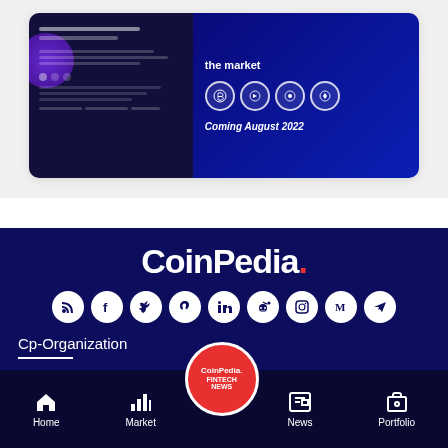[Figure (screenshot): Screenshot of a crypto app interface showing a dark mobile app UI on the left and a blue promotional banner with crypto token icons (ETH and others) and text 'Coming August 2022' on the right]
[Figure (logo): CoinPedia. logo in white bold text with a red period, displayed on dark navy background]
[Figure (infographic): Row of 9 social media icon circles (RSS, Facebook, Twitter, Pinterest, LinkedIn, Reddit, Instagram, Medium, Telegram) in white on navy background]
Cp-Organization
[Figure (logo): CoinPedia Fintech News circular badge logo in red and white]
Home | Market | News | Portfolio